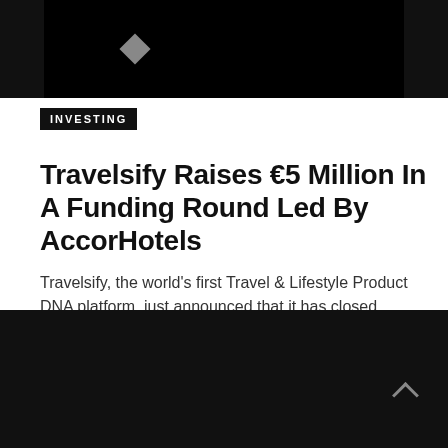[Figure (photo): Dark/black header image with a small diamond-shaped graphic element]
INVESTING
Travelsify Raises €5 Million In A Funding Round Led By AccorHotels
Travelsify, the world's first Travel & Lifestyle Product DNA platform, just announced that it has closed …
SILICON LUXEMBOURG – OCTOBER 4, 2018
● 0 COMMENTS · 🔁 0 SHARES
[Figure (logo): Silicon Luxembourg circular logo badge]
[Figure (photo): Dark/black footer bar]